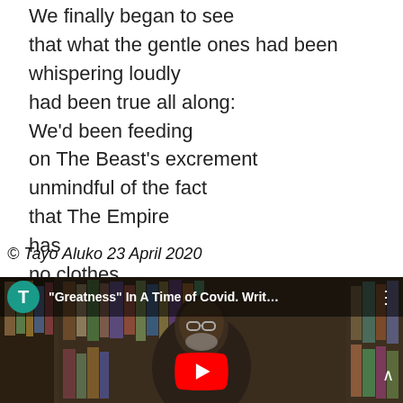We finally began to see
that what the gentle ones had been whispering loudly
had been true all along:
We'd been feeding
on The Beast's excrement
unmindful of the fact
that The Empire
has
no clothes
© Tayo Aluko 23 April 2020
[Figure (screenshot): YouTube video thumbnail showing a man with glasses and grey beard sitting in front of a bookshelf, with YouTube player UI overlay. Video title: "Greatness" In A Time of Covid. Writ… Avatar shows letter T on teal background.]